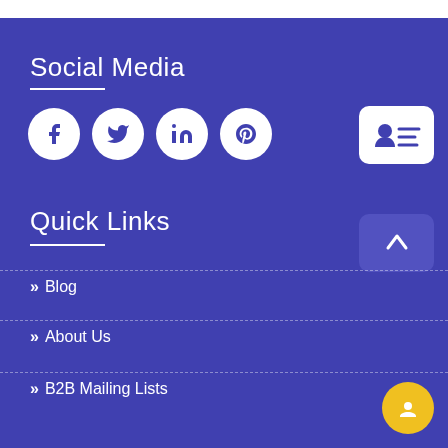Social Media
[Figure (illustration): Row of four social media icon circles: Facebook, Twitter, LinkedIn, Pinterest on a blue background]
[Figure (illustration): Contact card widget icon in white rounded rectangle on right side]
Quick Links
[Figure (illustration): Up-arrow chevron button in rounded rectangle]
>> Blog
>> About Us
>> B2B Mailing Lists
[Figure (illustration): Yellow chat bubble circle in bottom right corner]